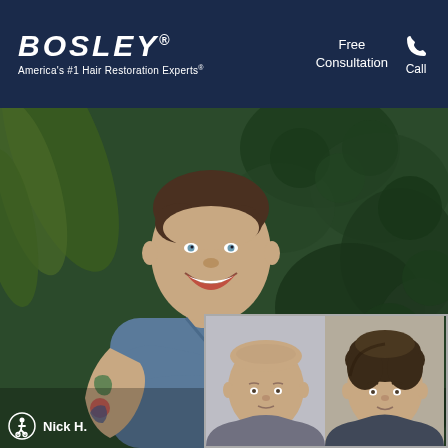[Figure (logo): Bosley logo - white text on dark navy background with registered trademark symbol]
America's #1 Hair Restoration Experts®
Free Consultation
Call
[Figure (photo): Main large photo of Nick H., a smiling man with tattoos on his arms wearing a blue t-shirt, arms crossed, standing in front of a green ivy wall background]
Nick H.
[Figure (photo): Before and after inset photos showing hair restoration results - left shows bald head before, right shows full hair after treatment]